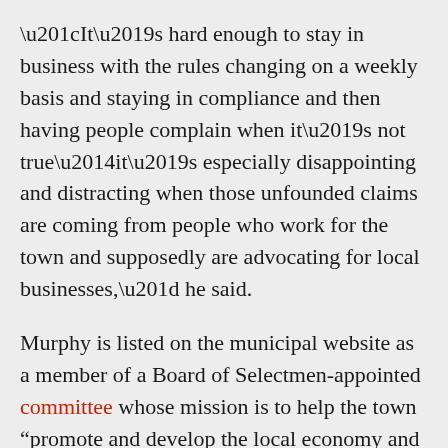“It’s hard enough to stay in business with the rules changing on a weekly basis and staying in compliance and then having people complain when it’s not true—it’s especially disappointing and distracting when those unfounded claims are coming from people who work for the town and supposedly are advocating for local businesses,” he said.
Murphy is listed on the municipal website as a member of a Board of Selectmen-appointed committee whose mission is to help the town “promote and develop the local economy and the local business community.”
Valente in addressing Murphy’s complaint with